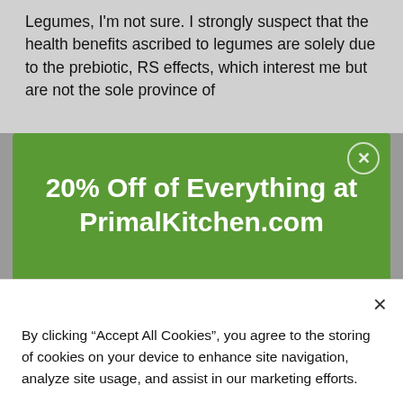Legumes, I'm not sure. I strongly suspect that the health benefits ascribed to legumes are solely due to the prebiotic, RS effects, which interest me but are not the sole province of
[Figure (screenshot): Green promotional modal popup with white close button (X in circle) at top right. Title reads '20% Off of Everything at PrimalKitchen.com'. Subtitle reads 'Subscribe to our emails to get the best curated content delivered to your inbox, special promos, and exclusive content you can't read anywhere else.']
By clicking “Accept All Cookies”, you agree to the storing of cookies on your device to enhance site navigation, analyze site usage, and assist in our marketing efforts.
Accept All Cookies
Cookies Settings